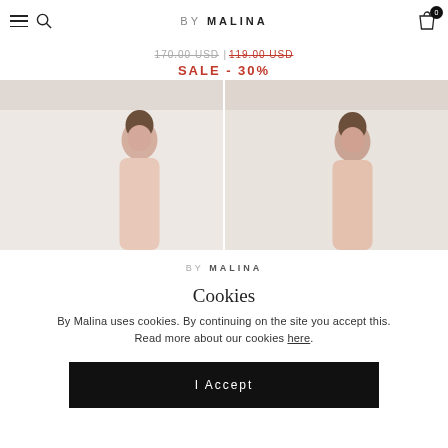BY MALINA
170.00 USD | 119.00 USD SALE - 30%
[Figure (photo): Two side-by-side fashion photos of a woman in a light-colored dress against a white background, partially cropped to show upper body]
BY MALINA
Cookies
By Malina uses cookies. By continuing on the site you accept this. Read more about our cookies here.
I Accept